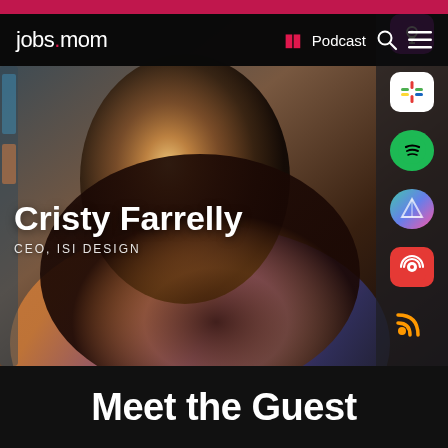jobs.mom | Podcast
[Figure (photo): Artistic portrait photo of Cristy Farrelly with warm tones, smiling woman with dark hair, posed with hand near chin. Side panel shows podcast app icons (Apple Podcasts, Google Podcasts, Spotify, Prisma, Pocket Casts, RSS).]
Cristy Farrelly
CEO, ISI DESIGN
Meet the Guest